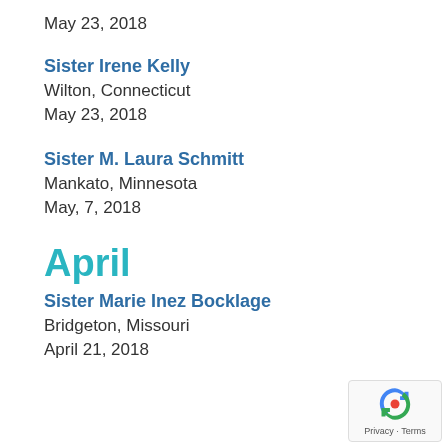May 23, 2018
Sister Irene Kelly
Wilton, Connecticut
May 23, 2018
Sister M. Laura Schmitt
Mankato, Minnesota
May, 7, 2018
April
Sister Marie Inez Bocklage
Bridgeton, Missouri
April 21, 2018